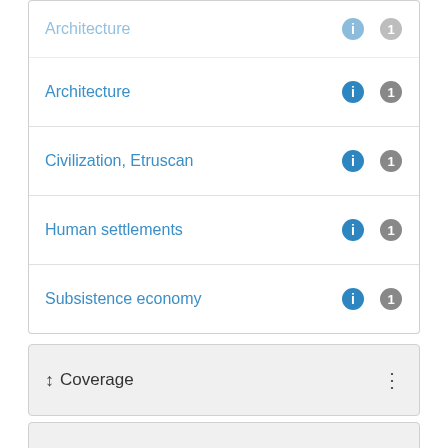Architecture
Civilization, Etruscan
Human settlements
Subsistence economy
Coverage
Temporal Coverage
Project List 1 to 1 of 1